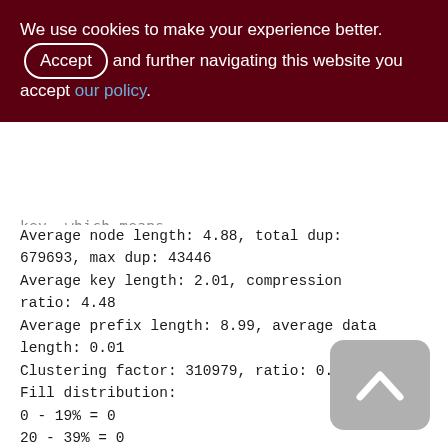We use cookies to make your experience better. By accepting and further navigating this website you accept our policy.
Average node length: 4.88, total dup: 679693, max dup: 43446
Average key length: 2.01, compression ratio: 4.48
Average prefix length: 8.99, average data length: 0.01
Clustering factor: 310979, ratio: 0.46
Fill distribution:
0 - 19% = 0
20 - 39% = 0
40 - 59% = 623
60 - 79% = 77
[Figure (other): Back to top button - grey rounded rectangle with upward chevron arrow]